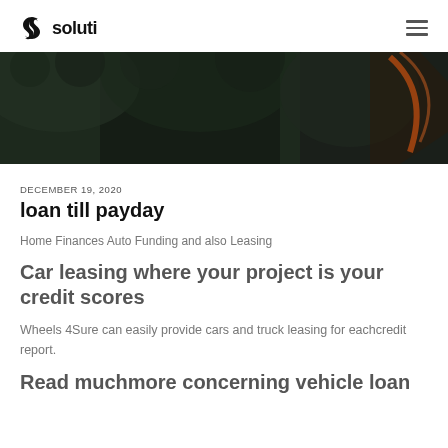soluti
[Figure (photo): Dark moody hero image with dark green foliage background and a reddish-orange streak or element on the right side]
DECEMBER 19, 2020
loan till payday
Home Finances Auto Funding and also Leasing
Car leasing where your project is your credit scores
Wheels 4Sure can easily provide cars and truck leasing for eachcredit report.
Read muchmore concerning vehicle loan